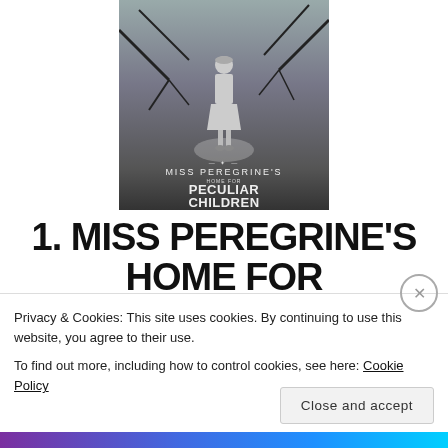[Figure (photo): Book cover of Miss Peregrine's Home for Peculiar Children – black and white photo of a girl standing in a dark forest, with the book title text below her]
1. MISS PEREGRINE'S HOME FOR PECULIAR CHILDREN BY RANSOM
Privacy & Cookies: This site uses cookies. By continuing to use this website, you agree to their use.
To find out more, including how to control cookies, see here: Cookie Policy
Close and accept